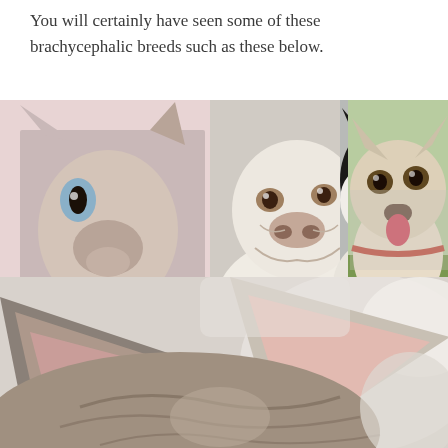You will certainly have seen some of these brachycephalic breeds such as these below.
[Figure (photo): Collage of three photos side by side: a flat-faced Persian cat with blue eyes on a pink background, a white English Bulldog looking up at the camera, and a black-and-white Boston Terrier dog, plus a cream French Bulldog sitting on green grass wearing a collar.]
[Figure (photo): Close-up photo of a cat's face and large ears from below/side angle, with another white animal (cat or dog) visible blurred in the background.]